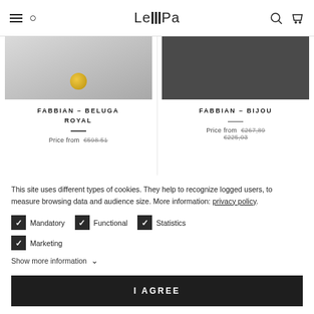LeMPA navigation header with hamburger, search, logo, user and cart icons
[Figure (photo): Product image for Fabbian Beluga Royal - gradient grey background with gold sphere]
FABBIAN – BELUGA ROYAL
Price from €598.51
[Figure (photo): Product image for Fabbian Bijou - dark grey background]
FABBIAN – BIJOU
Price from €267,89 €225,03
This site uses different types of cookies. They help to recognize logged users, to measure browsing data and audience size. More information: privacy policy.
Mandatory
Functional
Statistics
Marketing
Show more information
I AGREE